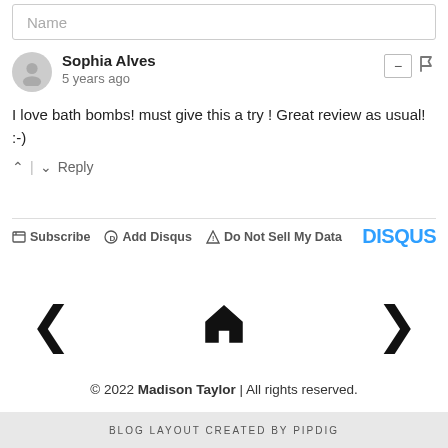Name
Sophia Alves
5 years ago
I love bath bombs! must give this a try ! Great review as usual! :-)
^ | v Reply
Subscribe  Add Disqus  Do Not Sell My Data  DISQUS
< (home icon) >
© 2022 Madison Taylor | All rights reserved.
BLOG LAYOUT CREATED BY pipdig